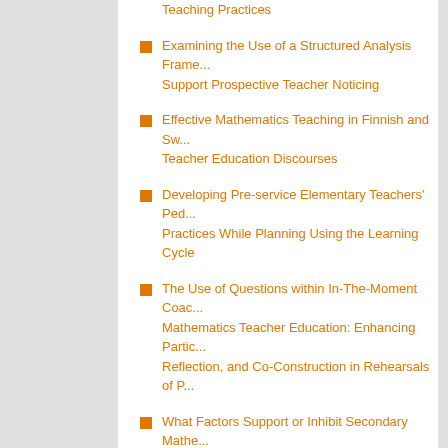Teaching Practices
Examining the Use of a Structured Analysis Frame... Support Prospective Teacher Noticing
Effective Mathematics Teaching in Finnish and Sw... Teacher Education Discourses
Developing Pre-service Elementary Teachers' Ped... Practices While Planning Using the Learning Cycle
The Use of Questions within In-The-Moment Coac... Mathematics Teacher Education: Enhancing Partic... Reflection, and Co-Construction in Rehearsals of P...
What Factors Support or Inhibit Secondary Mathe... service Teachers' Implementation of Problem-Solv... during Professional Experience?
Korean EFL Teachers' Perceptions of the Impact o... Teacher Education upon their Classroom Teaching...
Research Methods
A Methodological Framework for Studying Policy-C...